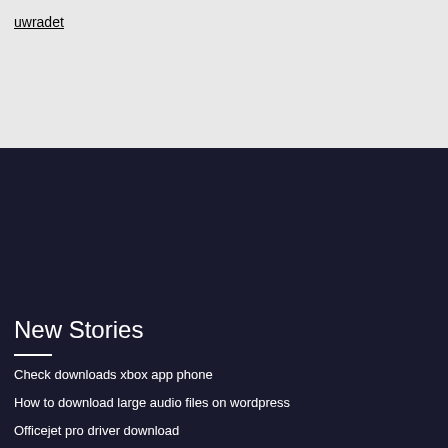uwradet
New Stories
Check downloads xbox app phone
How to download large audio files on wordpress
Officejet pro driver download
The time black eyed peas download torrent
Internet download manager latest version with serial key
Featured
Minecraft story mode for pc free download